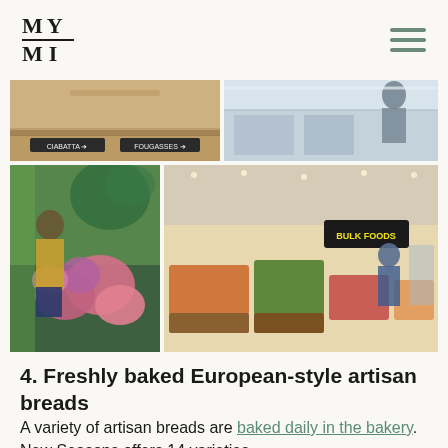MY MI
[Figure (photo): Collage of grocery store interior photos: top row shows bakery signage with ciabatta label and store interior with white shelving; bottom row shows a person arranging flowers in colorful floral display on the left, and a wide grocery store produce section with bulk foods sign on the right.]
4. Freshly baked European-style artisan breads
A variety of artisan breads are baked daily in the bakery. New Seasons offers 14 varieties